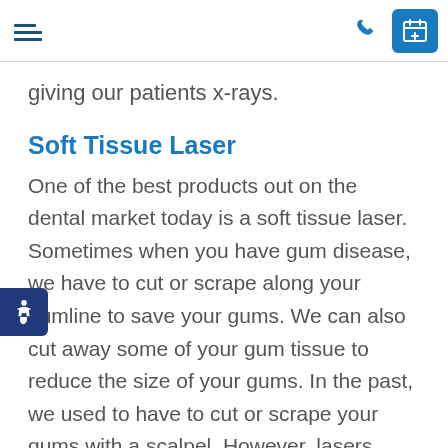[navigation bar with hamburger menu, phone icon, and calendar button]
giving our patients x-rays.
Soft Tissue Laser
One of the best products out on the dental market today is a soft tissue laser. Sometimes when you have gum disease, we have to cut or scrape along your gumline to save your gums. We can also cut away some of your gum tissue to reduce the size of your gums. In the past, we used to have to cut or scrape your gums with a scalpel. However, lasers, because they aren't cutting tools, mean we can remove plaque or tartar from